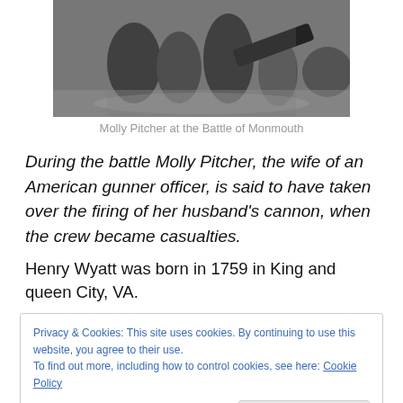[Figure (photo): Black and white historical illustration of Molly Pitcher at the Battle of Monmouth, showing figures near a cannon]
Molly Pitcher at the Battle of Monmouth
During the battle Molly Pitcher, the wife of an American gunner officer, is said to have taken over the firing of her husband's cannon, when the crew became casualties.
Henry Wyatt was born in 1759 in King and queen City, VA.
Privacy & Cookies: This site uses cookies. By continuing to use this website, you agree to their use.
To find out more, including how to control cookies, see here: Cookie Policy
Close and accept
service can be found in Revolutionary War Rolls, compiled